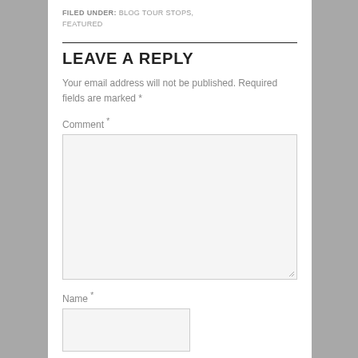FILED UNDER: BLOG TOUR STOPS, FEATURED
LEAVE A REPLY
Your email address will not be published. Required fields are marked *
Comment *
Name *